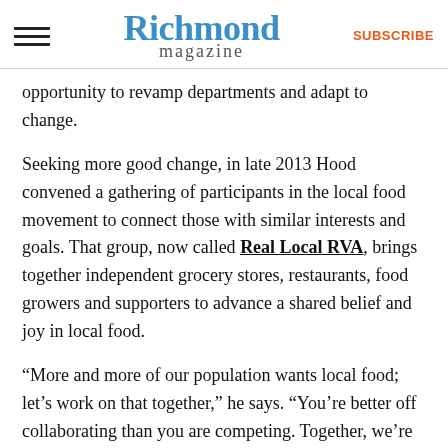Richmond magazine | SUBSCRIBE
opportunity to revamp departments and adapt to change.
Seeking more good change, in late 2013 Hood convened a gathering of participants in the local food movement to connect those with similar interests and goals. That group, now called Real Local RVA, brings together independent grocery stores, restaurants, food growers and supporters to advance a shared belief and joy in local food.
“More and more of our population wants local food; let’s work on that together,” he says. “You’re better off collaborating than you are competing. Together, we’re bringing in new vendors, working more deeply with small